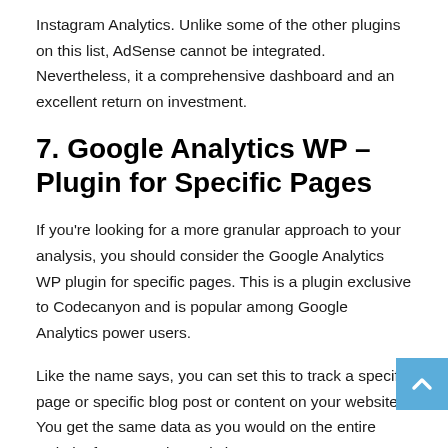Instagram Analytics. Unlike some of the other plugins on this list, AdSense cannot be integrated. Nevertheless, it a comprehensive dashboard and an excellent return on investment.
7. Google Analytics WP – Plugin for Specific Pages
If you're looking for a more granular approach to your analysis, you should consider the Google Analytics WP plugin for specific pages. This is a plugin exclusive to Codecanyon and is popular among Google Analytics power users.
Like the name says, you can set this to track a specific page or specific blog post or content on your website. You get the same data as you would on the entire website from Google Analytics.